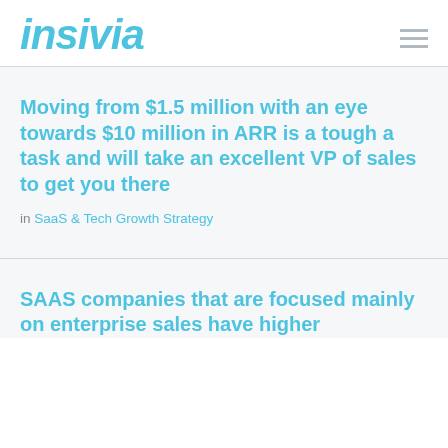insivia
Moving from $1.5 million with an eye towards $10 million in ARR is a tough a task and will take an excellent VP of sales to get you there
in SaaS & Tech Growth Strategy
SAAS companies that are focused mainly on enterprise sales have higher